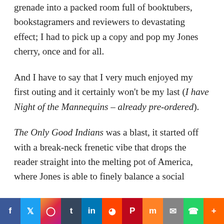grenade into a packed room full of booktubers, bookstagramers and reviewers to devastating effect; I had to pick up a copy and pop my Jones cherry, once and for all.
And I have to say that I very much enjoyed my first outing and it certainly won't be my last (I have Night of the Mannequins – already pre-ordered).
The Only Good Indians was a blast, it started off with a break-neck frenetic vibe that drops the reader straight into the melting pot of America, where Jones is able to finely balance a social